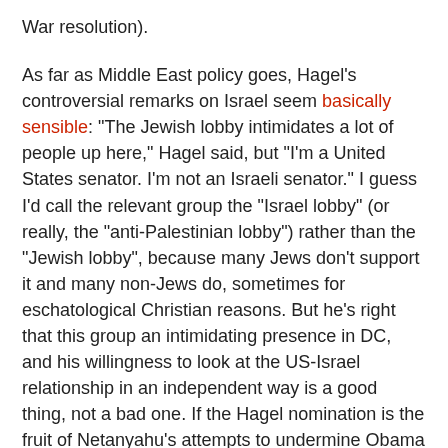War resolution).
As far as Middle East policy goes, Hagel's controversial remarks on Israel seem basically sensible: "The Jewish lobby intimidates a lot of people up here," Hagel said, but "I'm a United States senator. I'm not an Israeli senator." I guess I'd call the relevant group the "Israel lobby" (or really, the "anti-Palestinian lobby") rather than the "Jewish lobby", because many Jews don't support it and many non-Jews do, sometimes for eschatological Christian reasons. But he's right that this group an intimidating presence in DC, and his willingness to look at the US-Israel relationship in an independent way is a good thing, not a bad one. If the Hagel nomination is the fruit of Netanyahu's attempts to undermine Obama during the election, it's a sweet result indeed.
As for the thing where Hagel criticized a Clinton ambassadorial nominee for being "openly, aggressively gay", my hope and expectation is that he's moved forward from his old prejudices. He says he has, and the HRC accepts it. I'm hoping he gets thoroughly examined on these issues in his confirmation hearings and thoughtfully repudiates his past